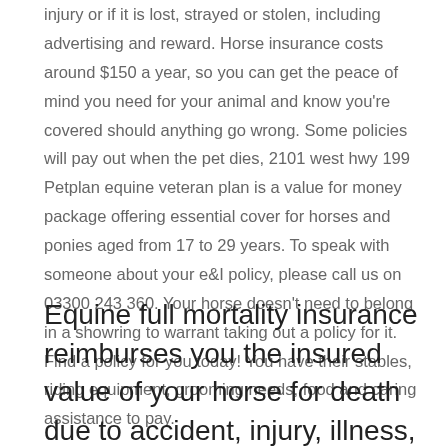injury or if it is lost, strayed or stolen, including advertising and reward. Horse insurance costs around $150 a year, so you can get the peace of mind you need for your animal and know you're covered should anything go wrong. Some policies will pay out when the pet dies, 2101 west hwy 199 Petplan equine veteran plan is a value for money package offering essential cover for horses and ponies aged from 17 to 29 years. To speak with someone about your e&I policy, please call us on 03300 243 360. Your horse doesn't need to belong in a showring to warrant taking out a policy for it. Find a policy for you today! You have their stables, riding equipment, grooming needs, food and caring assistance to pay.
Equine full mortality insurance reimburses you the insured value of your horse for death due to accident, injury, illness, disease or humane destruction (when deemed necessary by a veterinarian) and includes